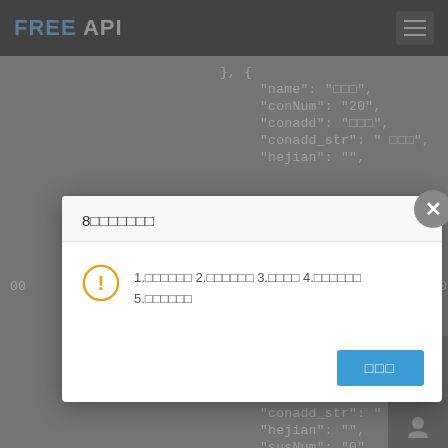FREE API
[Figure (screenshot): Code background showing JSON data with fields: name, conNum, conadd, conadd_str, hejian, asymptomNum, and more JSON objects]
8□□□□□□□
1.□□□□□□ 2.□□□□□□ 3.□□□□ 4.□□□□□□ 5.□□□□□□
□□□